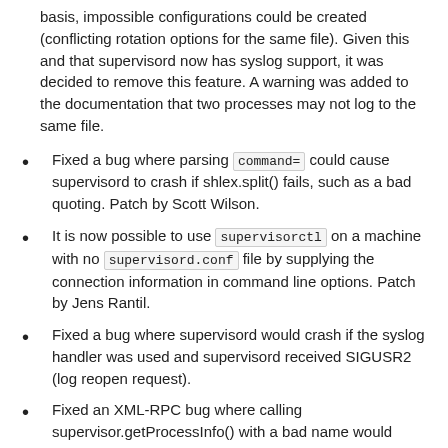basis, impossible configurations could be created (conflicting rotation options for the same file). Given this and that supervisord now has syslog support, it was decided to remove this feature. A warning was added to the documentation that two processes may not log to the same file.
Fixed a bug where parsing command= could cause supervisord to crash if shlex.split() fails, such as a bad quoting. Patch by Scott Wilson.
It is now possible to use supervisorctl on a machine with no supervisord.conf file by supplying the connection information in command line options. Patch by Jens Rantil.
Fixed a bug where supervisord would crash if the syslog handler was used and supervisord received SIGUSR2 (log reopen request).
Fixed an XML-RPC bug where calling supervisor.getProcessInfo() with a bad name would cause a 500 Internal Server Error rather than the returning a BAD_NAME fault.